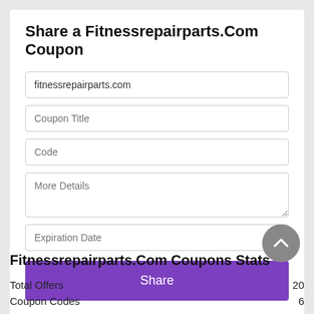Share a Fitnessrepairparts.Com Coupon
fitnessrepairparts.com
Coupon Title
Code
More Details
Expiration Date
Share
Fitnessrepairparts.Com Coupons Stats
|  |  |
| --- | --- |
| Total Offers | 20 |
| Coupon Codes | 6 |